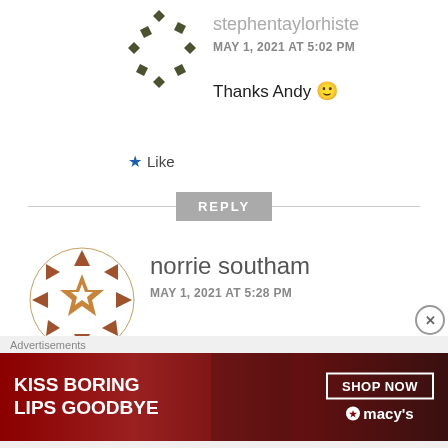[Figure (illustration): User avatar: dark olive/green circular arrow/chevron pattern on white background]
stephentaylorhisto
MAY 1, 2021 AT 5:02 PM
Thanks Andy 🙂
★ Like
REPLY
[Figure (illustration): User avatar: brown/amber geometric snowflake/star pattern on white background]
norrie southam
MAY 1, 2021 AT 5:28 PM
Excellent collection Stephen,
and VERY well set out… keep up the good
Advertisements
[Figure (illustration): Macy's advertisement banner: KISS BORING LIPS GOODBYE with red lips photo, SHOP NOW button and Macy's logo]